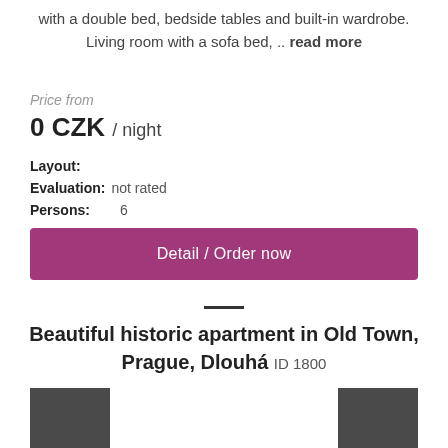with a double bed, bedside tables and built-in wardrobe. Living room with a sofa bed, .. read more
Price from
0 CZK / night
Layout:
Evaluation: not rated
Persons: 6
Detail / Order now
Beautiful historic apartment in Old Town, Prague, Dlouhá ID 1800
[Figure (photo): Two partial thumbnail images at bottom of page]